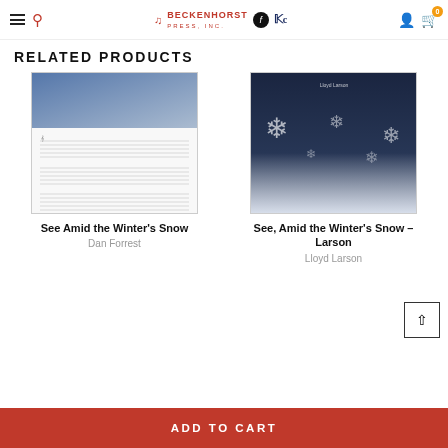Beckenhorst Press Inc. navigation header with hamburger menu, search, logos, user and cart icons
RELATED PRODUCTS
[Figure (photo): Product image for 'See Amid the Winter's Snow' by Dan Forrest - sheet music with blue winter top and music notation lines]
See Amid the Winter's Snow
Dan Forrest
[Figure (photo): Product image for 'See, Amid the Winter's Snow - Larson' by Lloyd Larson - dark blue background with snowflakes]
See, Amid the Winter's Snow – Larson
Lloyd Larson
ADD TO CART